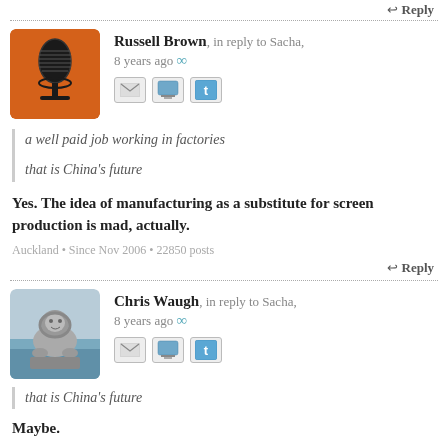↩ Reply
Russell Brown, in reply to Sacha, 8 years ago ∞
[Figure (photo): Avatar of Russell Brown: microphone on orange background]
a well paid job working in factories
that is China's future
Yes. The idea of manufacturing as a substitute for screen production is mad, actually.
Auckland • Since Nov 2006 • 22850 posts
↩ Reply
Chris Waugh, in reply to Sacha, 8 years ago ∞
[Figure (photo): Avatar of Chris Waugh: stone lion statue by water]
that is China's future
Maybe.
And Russell:
The idea of manufacturing as a substitute for